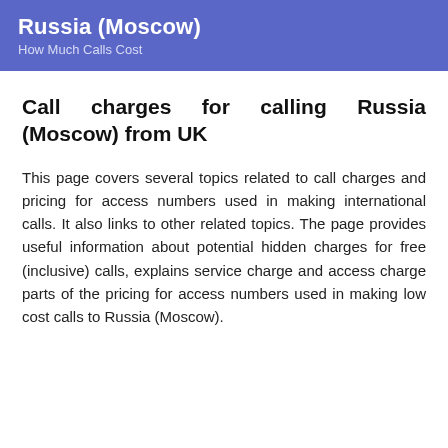Russia (Moscow)
How Much Calls Cost
Call charges for calling Russia (Moscow) from UK
This page covers several topics related to call charges and pricing for access numbers used in making international calls. It also links to other related topics. The page provides useful information about potential hidden charges for free (inclusive) calls, explains service charge and access charge parts of the pricing for access numbers used in making low cost calls to Russia (Moscow).